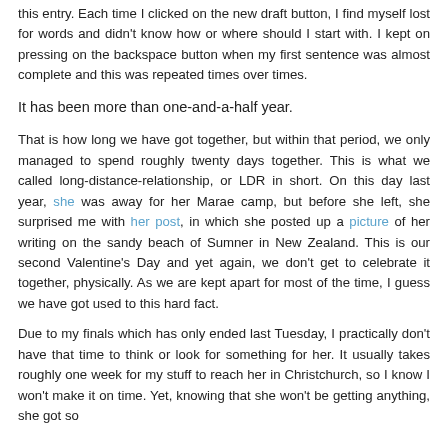this entry. Each time I clicked on the new draft button, I find myself lost for words and didn't know how or where should I start with. I kept on pressing on the backspace button when my first sentence was almost complete and this was repeated times over times.
It has been more than one-and-a-half year.
That is how long we have got together, but within that period, we only managed to spend roughly twenty days together. This is what we called long-distance-relationship, or LDR in short. On this day last year, she was away for her Marae camp, but before she left, she surprised me with her post, in which she posted up a picture of her writing on the sandy beach of Sumner in New Zealand. This is our second Valentine's Day and yet again, we don't get to celebrate it together, physically. As we are kept apart for most of the time, I guess we have got used to this hard fact.
Due to my finals which has only ended last Tuesday, I practically don't have that time to think or look for something for her. It usually takes roughly one week for my stuff to reach her in Christchurch, so I know I won't make it on time. Yet, knowing that she won't be getting anything, she got so